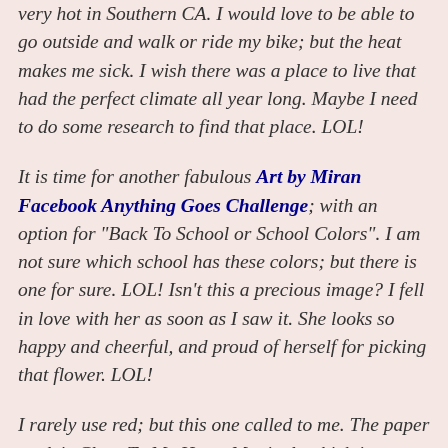very hot in Southern CA.  I would love to be able to go outside and walk or ride my bike; but the heat makes me sick.  I wish there was a place to live that had the perfect climate all year long.  Maybe I need to do some research to find that place.  LOL!
It is time for another fabulous Art by Miran Facebook Anything Goes Challenge; with an option for "Back To School or School Colors".  I am not sure which school has these colors; but there is one for sure.  LOL!  Isn't this a precious image?  I fell in love with her as soon as I saw it.  She looks so happy and cheerful, and proud of herself for picking that flower.  LOL!
I rarely use red; but this one called to me.  The paper pack is Close To My Heart Magical; which is retiring August 31st.  If you want it; get it right away.  Check the retiring products here and the clearance items here.